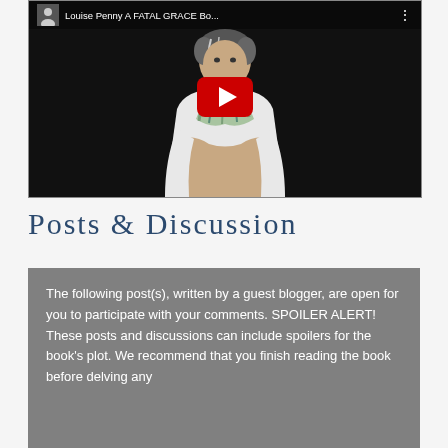[Figure (screenshot): YouTube video thumbnail showing a woman with grey-streaked hair wearing a white top and striped scarf, seated against a dark background. The video title reads 'Louise Penny A FATAL GRACE Bo...' A red YouTube play button is centered on the thumbnail.]
Posts & Discussion
The following post(s), written by a guest blogger, are open for you to participate with your comments. SPOILER ALERT! These posts and discussions can include spoilers for the book's plot. We recommend that you finish reading the book before delving any